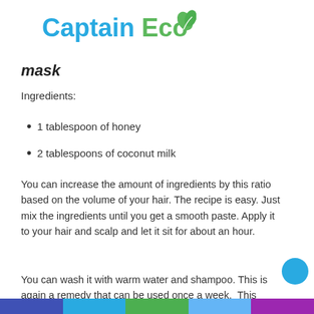[Figure (logo): Captain Eco logo with leaf icon — 'Captain' in blue, 'Eco' in green with stylized leaf]
mask
Ingredients:
1 tablespoon of honey
2 tablespoons of coconut milk
You can increase the amount of ingredients by this ratio based on the volume of your hair. The recipe is easy. Just mix the ingredients until you get a smooth paste. Apply it to your hair and scalp and let it sit for about an hour.
You can wash it with warm water and shampoo. This is again a remedy that can be used once a week.  This